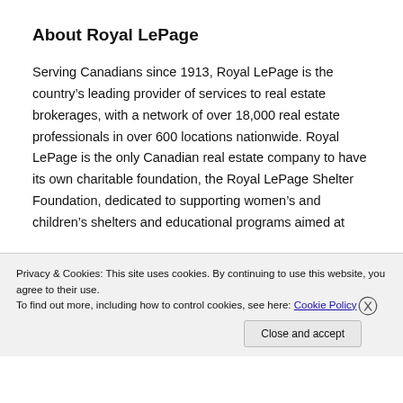About Royal LePage
Serving Canadians since 1913, Royal LePage is the country’s leading provider of services to real estate brokerages, with a network of over 18,000 real estate professionals in over 600 locations nationwide. Royal LePage is the only Canadian real estate company to have its own charitable foundation, the Royal LePage Shelter Foundation, dedicated to supporting women’s and children’s shelters and educational programs aimed at
Privacy & Cookies: This site uses cookies. By continuing to use this website, you agree to their use.
To find out more, including how to control cookies, see here: Cookie Policy
Close and accept